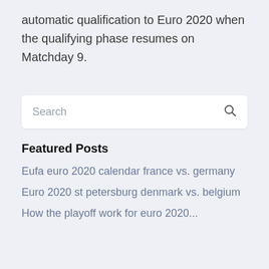automatic qualification to Euro 2020 when the qualifying phase resumes on Matchday 9.
Search
Featured Posts
Eufa euro 2020 calendar france vs. germany
Euro 2020 st petersburg denmark vs. belgium
How the playoff work for euro 2020...